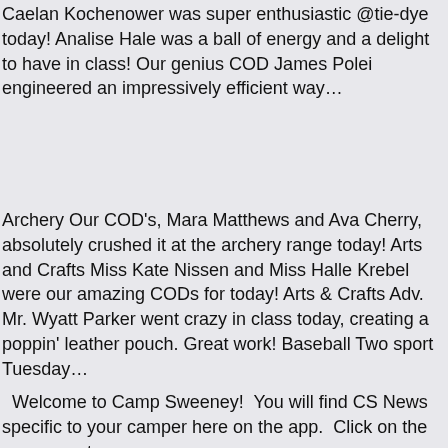Caelan Kochenower was super enthusiastic @tie-dye today! Analise Hale was a ball of energy and a delight to have in class! Our genius COD James Polei engineered an impressively efficient way…
Archery Our COD's, Mara Matthews and Ava Cherry, absolutely crushed it at the archery range today! Arts and Crafts Miss Kate Nissen and Miss Halle Krebel were our amazing CODs for today! Arts & Crafts Adv. Mr. Wyatt Parker went crazy in class today, creating a poppin' leather pouch. Great work! Baseball Two sport Tuesday…
Welcome to Camp Sweeney!  You will find CS News specific to your camper here on the app.  Click on the app menu to see